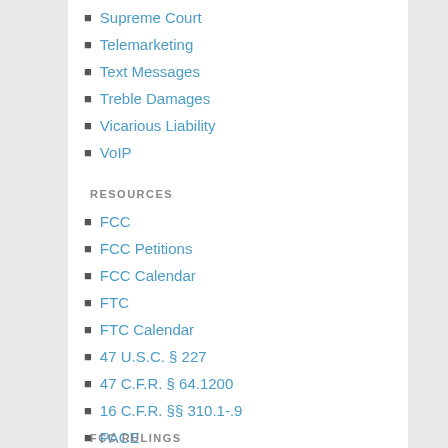Supreme Court
Telemarketing
Text Messages
Treble Damages
Vicarious Liability
VoIP
RESOURCES
FCC
FCC Petitions
FCC Calendar
FTC
FTC Calendar
47 U.S.C. § 227
47 C.F.R. § 64.1200
16 C.F.R. §§ 310.1-.9
PACE
DMA
insideARM
FCC RULINGS